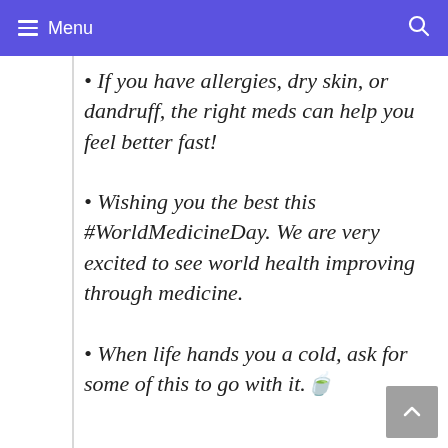Menu
If you have allergies, dry skin, or dandruff, the right meds can help you feel better fast!
Wishing you the best this #WorldMedicineDay. We are very excited to see world health improving through medicine.
When life hands you a cold, ask for some of this to go with it.☕